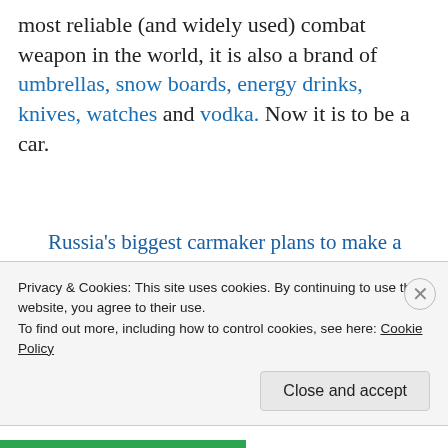most reliable (and widely used) combat weapon in the world, it is also a brand of umbrellas, snow boards, energy drinks, knives, watches and vodka. Now it is to be a car.
Russia's biggest carmaker plans to make a high-tech version of the Soviet-era Lada car that will be named after the creator of the Kalashnikov assault rifle, the Vedomosti business daily said. "We will probably work… to create a military jeep," said the head of arms trader
Privacy & Cookies: This site uses cookies. By continuing to use this website, you agree to their use.
To find out more, including how to control cookies, see here: Cookie Policy
Close and accept